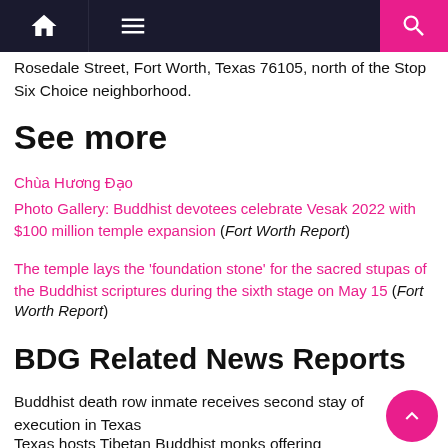Navigation bar with home, menu, and search icons
Rosedale Street, Fort Worth, Texas 76105, north of the Stop Six Choice neighborhood.
See more
Chùa Hương Đạo
Photo Gallery: Buddhist devotees celebrate Vesak 2022 with $100 million temple expansion (Fort Worth Report)
The temple lays the 'foundation stone' for the sacred stupas of the Buddhist scriptures during the sixth stage on May 15 (Fort Worth Report)
BDG Related News Reports
Buddhist death row inmate receives second stay of execution in Texas
Texas hosts Tibetan Buddhist monks offering lessons on